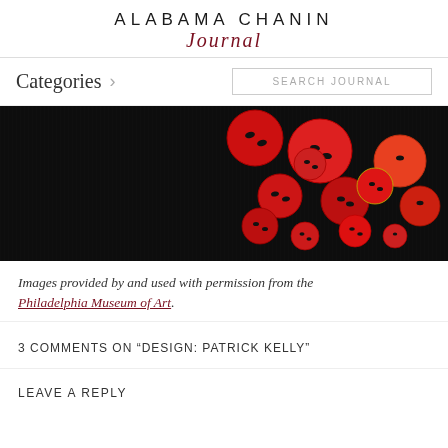ALABAMA CHANIN Journal
Categories >
SEARCH JOURNAL
[Figure (photo): Red buttons of various sizes arranged on a black fabric background, photographed for the Philadelphia Museum of Art.]
Images provided by and used with permission from the Philadelphia Museum of Art.
3 COMMENTS ON “DESIGN: PATRICK KELLY”
LEAVE A REPLY